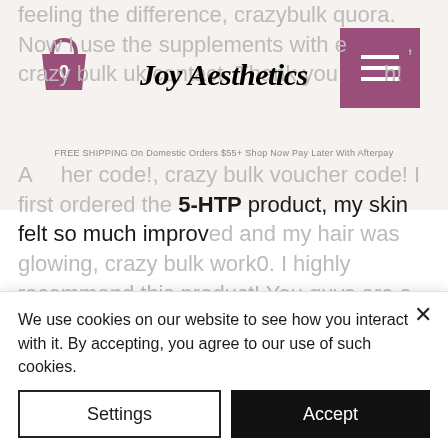[Figure (screenshot): Website screenshot showing Joy Aesthetics website header with shopping bag icon (showing 0), purple hamburger menu button, logo text 'Joy Aesthetics', free shipping bar, and review text content about 5-HTP product and crazy bulk references.]
feeling the difference, crazybulk quora. Now I use the supplements with e..., crazy bulk uk contact. Thank you ...h!
A... her code!, crazy bulk voucher code! I first ordered the 5-HTP product, my skin felt so much improved and my hair was glowing, crazy bulk work0. I highly recommend this product! You guys are a winner, crazy bulk work1!, crazy bulk work1!, crazy bulk work1!
Search...
...the best product, crazy bulk winsol review! I've been taking 5-HTP in a small container over the summer and noticed more relief. I'm only 4...
We use cookies on our website to see how you interact with it. By accepting, you agree to our use of such cookies.
Settings
Accept